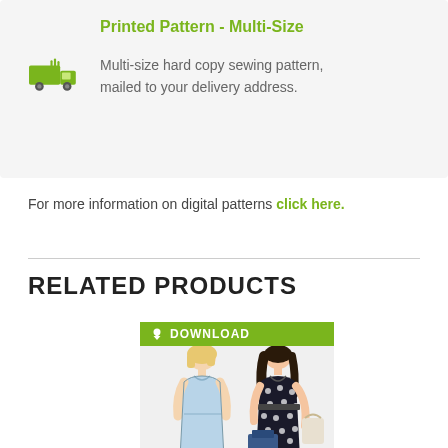Printed Pattern - Multi-Size
Multi-size hard copy sewing pattern, mailed to your delivery address.
For more information on digital patterns click here.
RELATED PRODUCTS
[Figure (illustration): Fashion illustration showing two women wearing dresses - one in a light blue sleeveless dress, one in a black and white polka dot dress with bag, under a green DOWNLOAD banner]